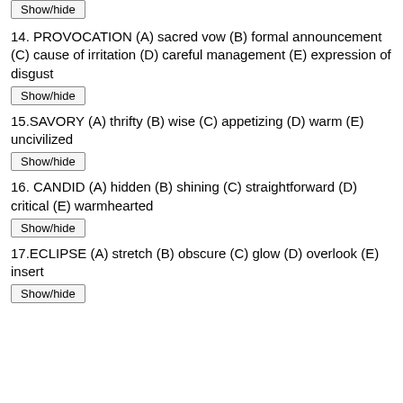Show/hide
14. PROVOCATION (A) sacred vow (B) formal announcement (C) cause of irritation (D) careful management (E) expression of disgust
Show/hide
15.SAVORY (A) thrifty (B) wise (C) appetizing (D) warm (E) uncivilized
Show/hide
16. CANDID (A) hidden (B) shining (C) straightforward (D) critical (E) warmhearted
Show/hide
17.ECLIPSE (A) stretch (B) obscure (C) glow (D) overlook (E) insert
Show/hide